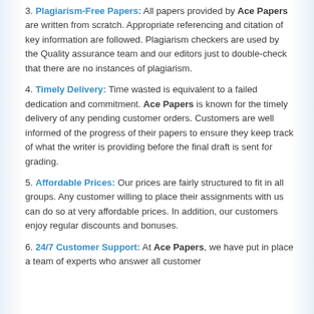3. Plagiarism-Free Papers: All papers provided by Ace Papers are written from scratch. Appropriate referencing and citation of key information are followed. Plagiarism checkers are used by the Quality assurance team and our editors just to double-check that there are no instances of plagiarism.
4. Timely Delivery: Time wasted is equivalent to a failed dedication and commitment. Ace Papers is known for the timely delivery of any pending customer orders. Customers are well informed of the progress of their papers to ensure they keep track of what the writer is providing before the final draft is sent for grading.
5. Affordable Prices: Our prices are fairly structured to fit in all groups. Any customer willing to place their assignments with us can do so at very affordable prices. In addition, our customers enjoy regular discounts and bonuses.
6. 24/7 Customer Support: At Ace Papers, we have put in place a team of experts who answer all customer